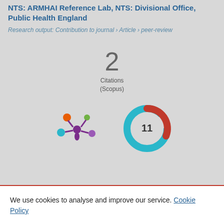NTS: ARMHAI Reference Lab, NTS: Divisional Office, Public Health England
Research output: Contribution to journal › Article › peer-review
2 Citations (Scopus)
[Figure (logo): Altmetric snowflake-style logo with colored dots]
[Figure (logo): Scopus donut logo showing number 11]
We use cookies to analyse and improve our service. Cookie Policy